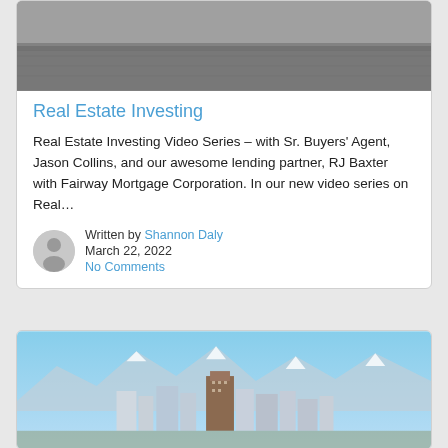[Figure (photo): Grayscale landscape/field photo at top of first card]
Real Estate Investing
Real Estate Investing Video Series – with Sr. Buyers' Agent, Jason Collins, and our awesome lending partner, RJ Baxter with Fairway Mortgage Corporation. In our new video series on Real…
Written by Shannon Daly
March 22, 2022
No Comments
[Figure (photo): Color photo of a city skyline with mountains in the background (appears to be Denver)]